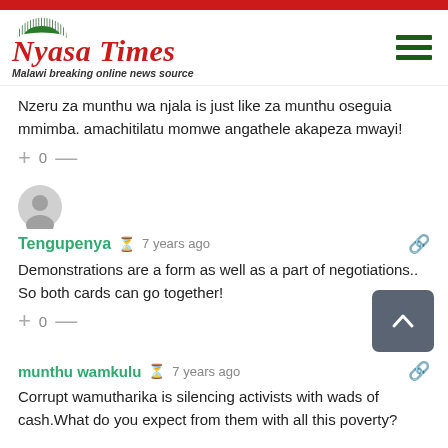[Figure (logo): Nyasa Times logo with green arc and red text, subtitle: Malawi breaking online news source]
Nzeru za munthu wa njala is just like za munthu oseguia mmimba. amachitilatu momwe angathele akapeza mwayi!
+ 0 —
[Figure (illustration): Generic user avatar circle icon]
Tengupenya  🕐 7 years ago
Demonstrations are a form as well as a part of negotiations.. So both cards can go together!
+ 0 —
munthu wamkulu  🕐 7 years ago
Corrupt wamutharika is silencing activists with wads of cash.What do you expect from them with all this poverty?